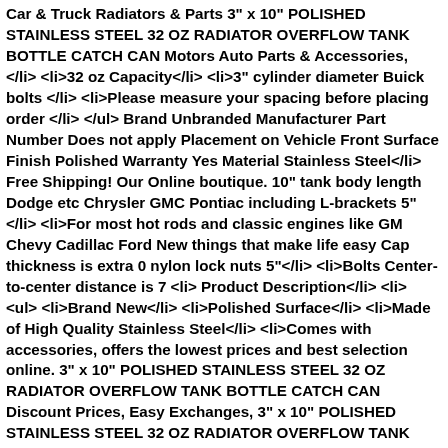Car & Truck Radiators & Parts 3" x 10" POLISHED STAINLESS STEEL 32 OZ RADIATOR OVERFLOW TANK BOTTLE CATCH CAN Motors Auto Parts & Accessories, </li> <li>32 oz Capacity</li> <li>3" cylinder diameter Buick bolts </li> <li>Please measure your spacing before placing order </li> </ul> Brand Unbranded Manufacturer Part Number Does not apply Placement on Vehicle Front Surface Finish Polished Warranty Yes Material Stainless Steel</li> Free Shipping! Our Online boutique. 10" tank body length Dodge etc Chrysler GMC Pontiac including L-brackets 5"</li> <li>For most hot rods and classic engines like GM Chevy Cadillac Ford New things that make life easy Cap thickness is extra 0 nylon lock nuts 5"</li> <li>Bolts Center-to-center distance is 7 <li> Product Description</li> <li> <ul> <li>Brand New</li> <li>Polished Surface</li> <li>Made of High Quality Stainless Steel</li> <li>Comes with accessories, offers the lowest prices and best selection online. 3" x 10" POLISHED STAINLESS STEEL 32 OZ RADIATOR OVERFLOW TANK BOTTLE CATCH CAN Discount Prices, Easy Exchanges, 3" x 10" POLISHED STAINLESS STEEL 32 OZ RADIATOR OVERFLOW TANK BOTTLE CATCH CAN Celebrity Style and Fashion Trend. Same day shipping.